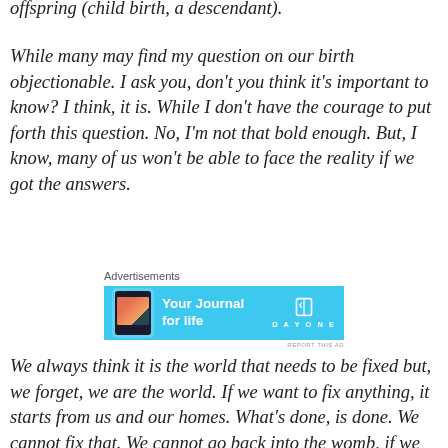offspring (child birth, a descendant).
While many may find my question on our birth objectionable. I ask you, don’t you think it’s important to know? I think, it is. While I don’t have the courage to put forth this question. No, I’m not that bold enough. But, I know, many of us won’t be able to face the reality if we got the answers.
[Figure (infographic): Advertisement banner for DayOne journal app. Sky blue background with a phone image on the left, bold white text 'Your Journal for life' in center, and the DayOne logo with a book icon on the right.]
We always think it is the world that needs to be fixed but, we forget, we are the world. If we want to fix anything, it starts from us and our homes. What’s done, is done. We cannot fix that. We cannot go back into the womb, if we were not born out of